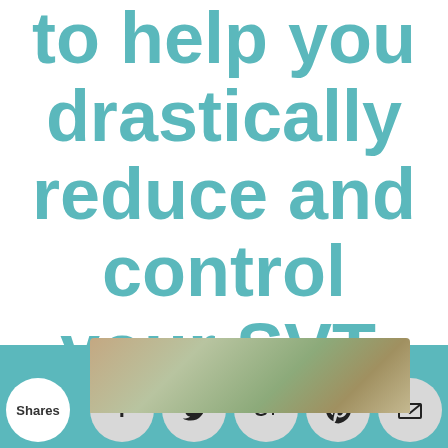to help you drastically reduce and control your SVT.
[Figure (screenshot): Social sharing bar with Shares bubble and icons for Facebook, Twitter, Google+, Pinterest, Email, and another icon, overlaid on a teal/colored band and photo background.]